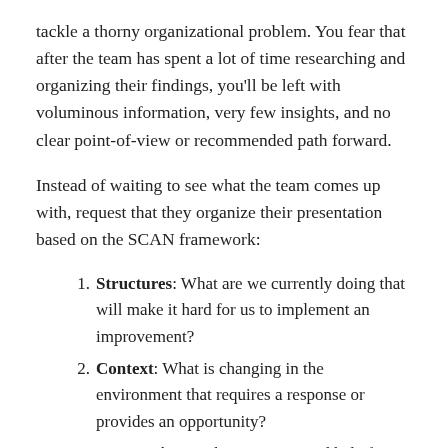tackle a thorny organizational problem. You fear that after the team has spent a lot of time researching and organizing their findings, you'll be left with voluminous information, very few insights, and no clear point-of-view or recommended path forward.
Instead of waiting to see what the team comes up with, request that they organize their presentation based on the SCAN framework:
Structures: What are we currently doing that will make it hard for us to implement an improvement?
Context: What is changing in the environment that requires a response or provides an opportunity?
Assumptions: What unquestioned beliefs about